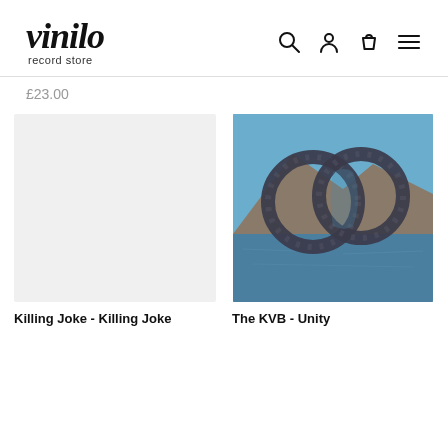vinilo record store
£23.00
[Figure (photo): Blank/placeholder product image with light grey background for Killing Joke album]
[Figure (photo): Photograph of two interlocked large circular stone/metal ring sculptures outdoors against blue sky and rocky mountain backdrop with water reflection — album art for The KVB Unity]
Killing Joke - Killing Joke
The KVB - Unity